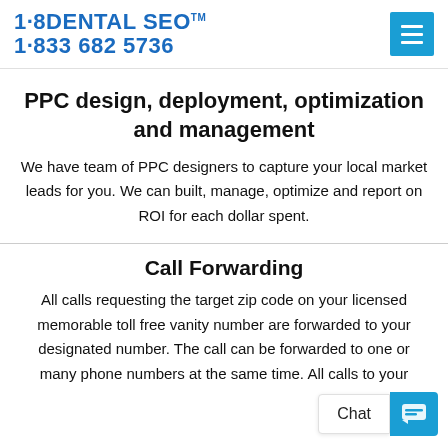1·8DENTAL SEO™ 1·833 682 5736
PPC design, deployment, optimization and management
We have team of PPC designers to capture your local market leads for you. We can built, manage, optimize and report on ROI for each dollar spent.
Call Forwarding
All calls requesting the target zip code on your licensed memorable toll free vanity number are forwarded to your designated number. The call can be forwarded to one or many phone numbers at the same time. All calls to your